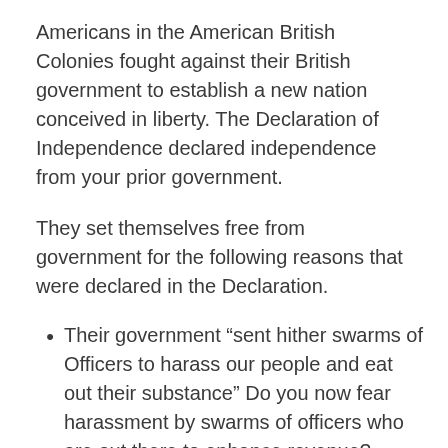Americans in the American British Colonies fought against their British government to establish a new nation conceived in liberty.  The Declaration of Independence declared independence from your prior government.
They set themselves free from government for the following reasons that were declared in the Declaration.
Their government “sent hither swarms of Officers to harass our people and eat out their substance”  Do you now fear harassment by swarms of officers who are out there to enhance revenue?
“render the Military independent of and superior to the Civil Power”.  Have your local police been militarized by secret